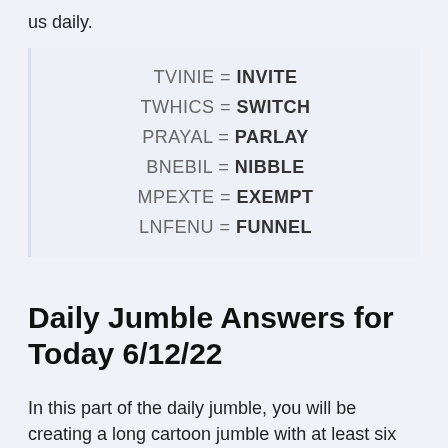us daily.
TVINIE = INVITE
TWHICS = SWITCH
PRAYAL = PARLAY
BNEBIL = NIBBLE
MPEXTE = EXEMPT
LNFENU = FUNNEL
Daily Jumble Answers for Today 6/12/22
In this part of the daily jumble, you will be creating a long cartoon jumble with at least six